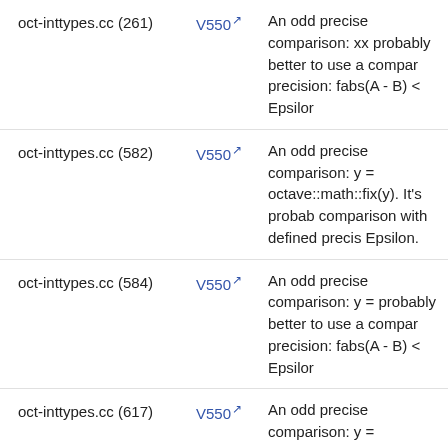oct-inttypes.cc (261) V550 An odd precise comparison: xx probably better to use a comparison with defined precision: fabs(A - B) < Epsilon
oct-inttypes.cc (582) V550 An odd precise comparison: y = octave::math::fix(y). It's probably better to use a comparison with defined precision: fabs(A - B) < Epsilon.
oct-inttypes.cc (584) V550 An odd precise comparison: y = probably better to use a comparison with defined precision: fabs(A - B) < Epsilon
oct-inttypes.cc (617) V550 An odd precise comparison: y = octave::math::fix(y). It's probably better to use a comparison with defined precision: fabs(A - B) < Epsilon.
oct-inttypes.cc (619) V550 An odd precise comparison: fabs probably better to use a comparison with defined precision: fabs(A - B) < Epsilon
oct-inttypes.cc (667) V550 An odd precise comparison: y = octave::math::fix(y). It's probably better to use a comparison with defined precision: fabs(A - B) < Epsilon.
oct-inttypes.cc (677) V550 An odd precise comparison: y = octave::math::fix(y). It's probably better to use a comparison with defined precision: fabs(A - B) < Epsilon.